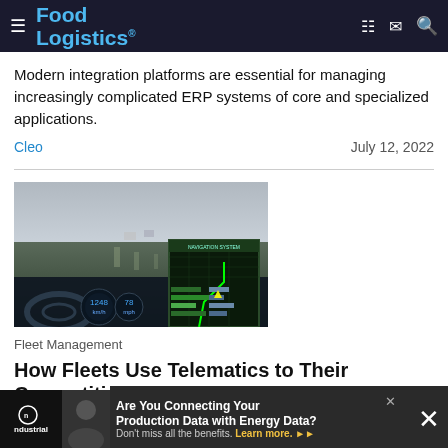Food Logistics
Modern integration platforms are essential for managing increasingly complicated ERP systems of core and specialized applications.
Cleo    July 12, 2022
[Figure (photo): Dashboard view from inside a vehicle showing speedometers and navigation screen with road visible through windshield]
Fleet Management
How Fleets Use Telematics to Their Competitive Advantage
Recent reports show that many companies could run in a matter of days
Are You Connecting Your Production Data with Energy Data? Don't miss all the benefits. Learn more.